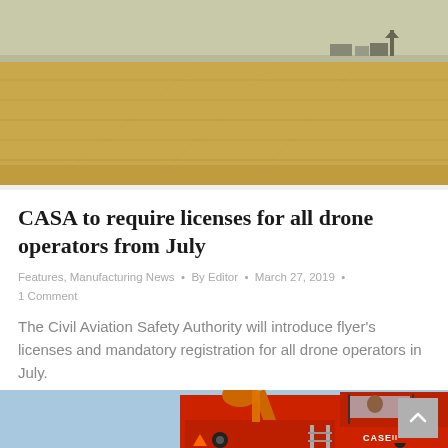[Figure (photo): Aerial or wide-angle view of a flat agricultural field, golden wheat or grain, with farm buildings visible in the far distance under a pale sky.]
CASA to require licenses for all drone operators from July
Features, Manufacturing News  •  By Editor  •  March 27, 2019  •  1 Comment
The Civil Aviation Safety Authority will introduce flyer's licenses and mandatory registration for all drone operators in July.
[Figure (photo): Close-up of a red Case IH combine harvester against a blue sky, showing the cab, auger, and machinery detail.]